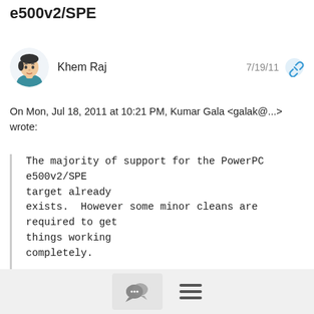e500v2/SPE
Khem Raj
7/19/11
On Mon, Jul 18, 2011 at 10:21 PM, Kumar Gala <galak@...> wrote:
The majority of support for the PowerPC e500v2/SPE target already
exists.  However some minor cleans are required to get things working
completely.

The e500v2 utilizes a unique floating point programming model / ABI from
other PowerPC targets and thus requires special handling.
Hi Kumar